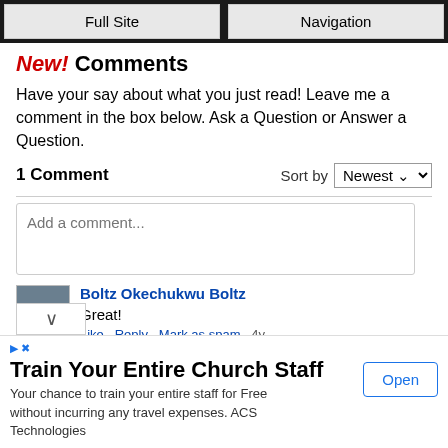Full Site | Navigation
New! Comments
Have your say about what you just read! Leave me a comment in the box below. Ask a Question or Answer a Question.
1 Comment   Sort by Newest
Add a comment...
Boltz Okechukwu Boltz
Great!
Like · Reply · Mark as spam · 4y
Train Your Entire Church Staff
Your chance to train your entire staff for Free without incurring any travel expenses. ACS Technologies